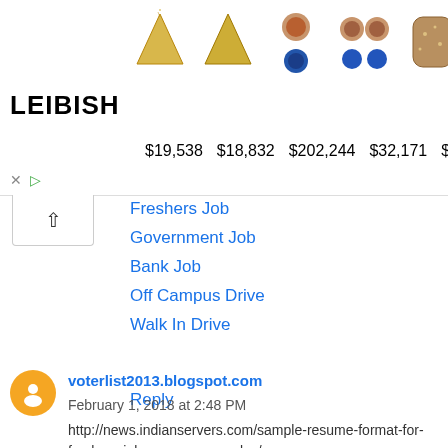[Figure (other): LEIBISH jewelry advertisement banner showing gemstones and diamond earrings with prices: $19,538, $18,832, $202,244, $32,171, $6,277]
Freshers Job
Government Job
Bank Job
Off Campus Drive
Walk In Drive
Reply
voterlist2013.blogspot.com February 1, 2018 at 2:48 PM
http://news.indianservers.com/sample-resume-format-for-freshers-job-resume-examples/
http://news.indianservers.com/karnataka-land-records-step-by-step-guidelines-of-bhoomi-rtc/